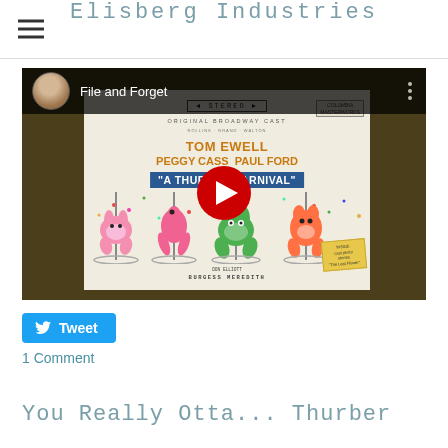Elisberg Industries
[Figure (screenshot): YouTube video embed showing 'File and Forget' with a thumbnail of the Columbia Records Original Broadway Cast album of 'A Thurber Carnival' featuring Tom Ewell, Peggy Cass, and Paul Ford. The video has a YouTube play button overlay and the channel avatar shows a woman's photo.]
Tweet
1 Comment
You Really Atta...Thurber